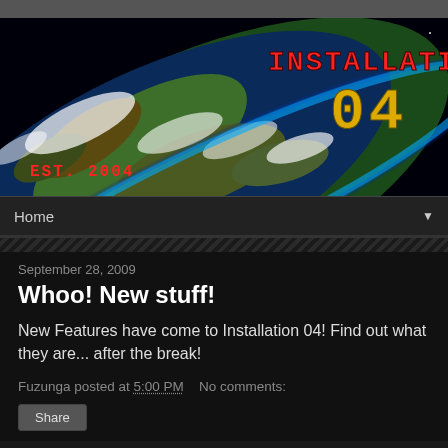[Figure (illustration): Installation 04 website banner. Shows a view of planet Earth from space with glowing blue atmosphere edge, green and brown continents, white clouds. Black starry space background. Top right has red pixel-font text 'INSTALLATION' and yellow pixel-font '04'. Bottom left has red pixel-font text 'EST. 2004'.]
Home
September 28, 2009
Whoo! New stuff!
New Features have come to Installation 04! Find out what they are... after the break!
Fuzunga posted at 5:00 PM   No comments:
Share